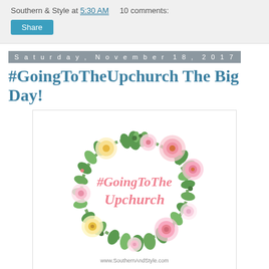Southern & Style at 5:30 AM   10 comments:
Share
Saturday, November 18, 2017
#GoingToTheUpchurch The Big Day!
[Figure (illustration): Floral wreath illustration with pink and yellow roses, green leaves, and cursive script text reading '#GoingToThe Upchurch' in pink, with 'www.SouthernAndStyle.com' at the bottom]